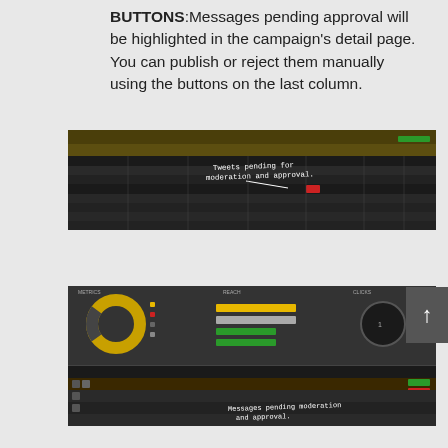BUTTONS: Messages pending approval will be highlighted in the campaign's detail page. You can publish or reject them manually using the buttons on the last column.
[Figure (screenshot): Screenshot of a campaign detail page showing a table of tweets with a callout annotation reading 'Tweets pending for moderation and approval.' An arrow points to highlighted rows in the table.]
[Figure (screenshot): Screenshot of a campaign analytics dashboard showing donut charts, bar charts, and a detail table. A callout reads 'Messages pending moderation and approval.' with highlighted rows visible.]